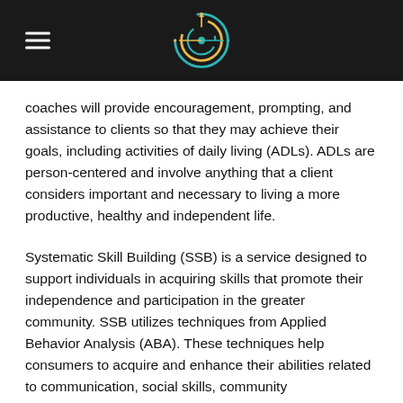[Logo and navigation header]
coaches will provide encouragement, prompting, and assistance to clients so that they may achieve their goals, including activities of daily living (ADLs). ADLs are person-centered and involve anything that a client considers important and necessary to living a more productive, healthy and independent life.
Systematic Skill Building (SSB) is a service designed to support individuals in acquiring skills that promote their independence and participation in the greater community. SSB utilizes techniques from Applied Behavior Analysis (ABA). These techniques help consumers to acquire and enhance their abilities related to communication, social skills, community...